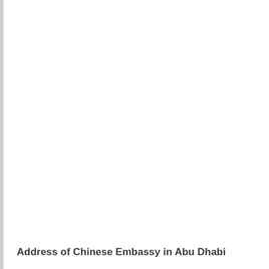Address of Chinese Embassy in Abu Dhabi